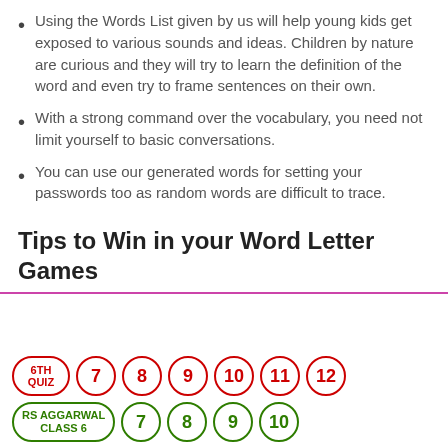Using the Words List given by us will help young kids get exposed to various sounds and ideas. Children by nature are curious and they will try to learn the definition of the word and even try to frame sentences on their own.
With a strong command over the vocabulary, you need not limit yourself to basic conversations.
You can use our generated words for setting your passwords too as random words are difficult to trace.
Tips to Win in your Word Letter Games
[Figure (infographic): Navigation bar with two rows of pill/circle buttons. Top row: red-bordered pills labeled '6TH QUIZ', '7', '8', '9', '10', '11', '12'. Bottom row: green-bordered pills labeled 'RS AGGARWAL CLASS 6', '7', '8', '9', '10'.]